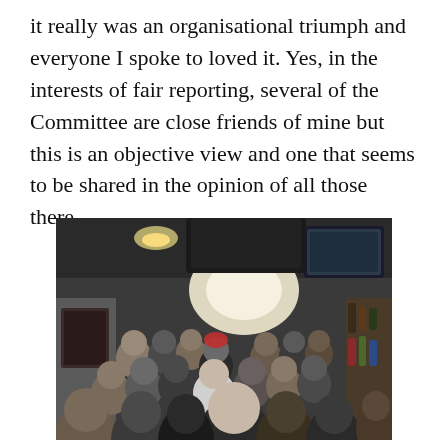it really was an organisational triumph and everyone I spoke to loved it. Yes, in the interests of fair reporting, several of the Committee are close friends of mine but this is an objective view and one that seems to be shared in the opinion of all those there.
[Figure (photo): A crowded indoor venue, possibly a club or bar, filled with people seen from behind. The room has overhead lighting, a TV screen visible on the right, and a bright window or entrance area in the background. The scene suggests a busy social gathering or event.]